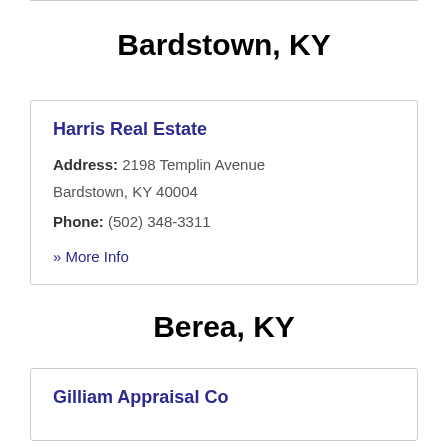Bardstown, KY
Harris Real Estate
Address: 2198 Templin Avenue Bardstown, KY 40004
Phone: (502) 348-3311
» More Info
Berea, KY
Gilliam Appraisal Co